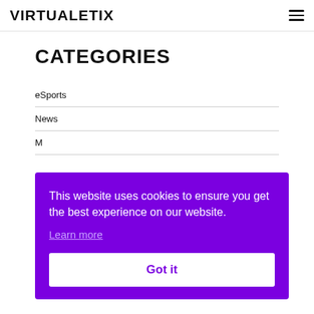VIRTUALETIX
CATEGORIES
eSports
News
M...
This website uses cookies to ensure you get the best experience on our website.
Learn more
Got it